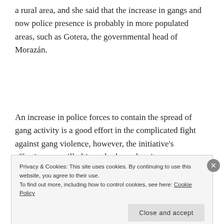a rural area, and she said that the increase in gangs and now police presence is probably in more populated areas, such as Gotera, the governmental head of Morazán.
An increase in police forces to contain the spread of gang activity is a good effort in the complicated fight against gang violence, however, the initiative's effectiveness will ultimately depend on its management by the PNC and
Privacy & Cookies: This site uses cookies. By continuing to use this website, you agree to their use.
To find out more, including how to control cookies, see here: Cookie Policy
Close and accept